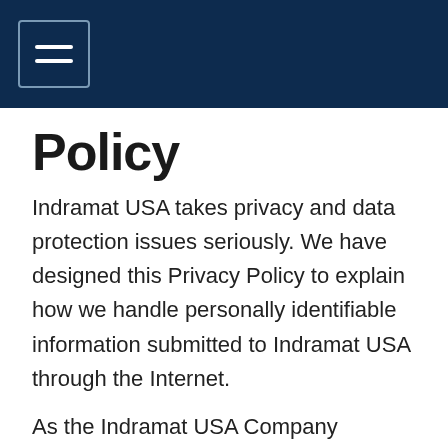[Navigation header with hamburger menu]
Policy
Indramat USA takes privacy and data protection issues seriously. We have designed this Privacy Policy to explain how we handle personally identifiable information submitted to Indramat USA through the Internet.
As the Indramat USA Company evolves, we may revise this policy, so please check back frequently. If you have questions about Indramat USA privacy practices please contact us at sales@indramat-usa.com.